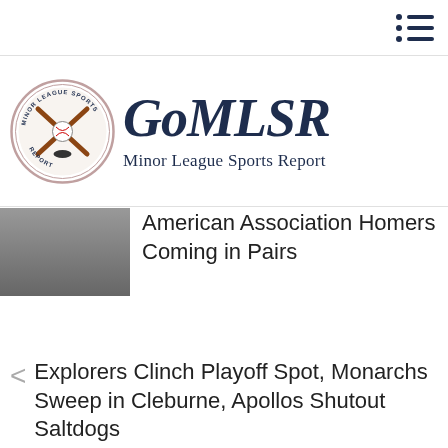[Figure (logo): GoMLSR Minor League Sports Report logo with circular badge and text]
American Association Homers Coming in Pairs
Explorers Clinch Playoff Spot, Monarchs Sweep in Cleburne, Apollos Shutout Saltdogs